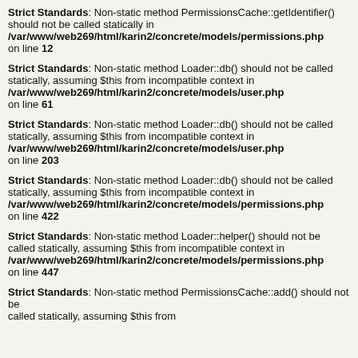Strict Standards: Non-static method PermissionsCache::getIdentifier() should not be called statically in /var/www/web269/html/karin2/concrete/models/permissions.php on line 12
Strict Standards: Non-static method Loader::db() should not be called statically, assuming $this from incompatible context in /var/www/web269/html/karin2/concrete/models/user.php on line 61
Strict Standards: Non-static method Loader::db() should not be called statically, assuming $this from incompatible context in /var/www/web269/html/karin2/concrete/models/user.php on line 203
Strict Standards: Non-static method Loader::db() should not be called statically, assuming $this from incompatible context in /var/www/web269/html/karin2/concrete/models/permissions.php on line 422
Strict Standards: Non-static method Loader::helper() should not be called statically, assuming $this from incompatible context in /var/www/web269/html/karin2/concrete/models/permissions.php on line 447
Strict Standards: Non-static method PermissionsCache::add() should not be called statically, assuming $this from